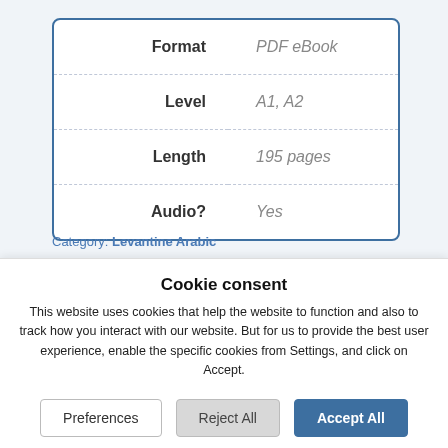| Label | Value |
| --- | --- |
| Format | PDF eBook |
| Level | A1, A2 |
| Length | 195 pages |
| Audio? | Yes |
Category: Levantine Arabic
Cookie consent
This website uses cookies that help the website to function and also to track how you interact with our website. But for us to provide the best user experience, enable the specific cookies from Settings, and click on Accept.